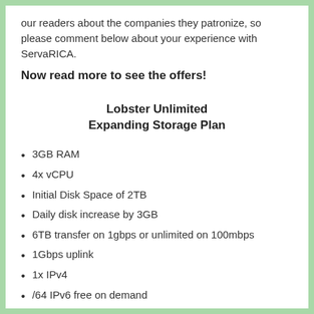our readers about the companies they patronize, so please comment below about your experience with ServaRICA.
Now read more to see the offers!
Lobster Unlimited Expanding Storage Plan
3GB RAM
4x vCPU
Initial Disk Space of 2TB
Daily disk increase by 3GB
6TB transfer on 1gbps or unlimited on 100mbps
1Gbps uplink
1x IPv4
/64 IPv6 free on demand
XenHVM (using our Xenica Control panel